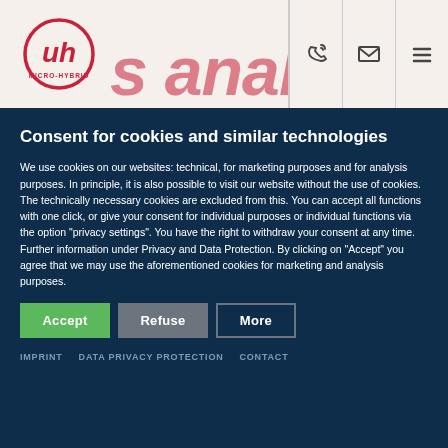MICRO-HYBRID — gas analysis
Consent for cookies and similar technologies
We use cookies on our websites: technical, for marketing purposes and for analysis purposes. In principle, it is also possible to visit our website without the use of cookies. The technically necessary cookies are excluded from this. You can accept all functions with one click, or give your consent for individual purposes or individual functions via the option "privacy settings". You have the right to withdraw your consent at any time. Further information under Privacy and Data Protection. By clicking on "Accept" you agree that we may use the aforementioned cookies for marketing and analysis purposes.
Accept
Refuse
More
IMPRINT   DATA PRIVACY PROTECTION   CONTACT